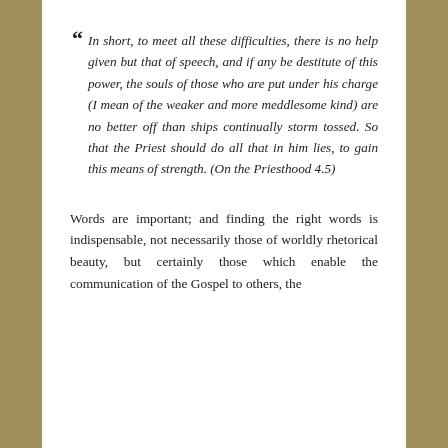“ In short, to meet all these difficulties, there is no help given but that of speech, and if any be destitute of this power, the souls of those who are put under his charge (I mean of the weaker and more meddlesome kind) are no better off than ships continually storm tossed. So that the Priest should do all that in him lies, to gain this means of strength. (On the Priesthood 4.5)
Words are important; and finding the right words is indispensable, not necessarily those of worldly rhetorical beauty, but certainly those which enable the communication of the Gospel to others, the